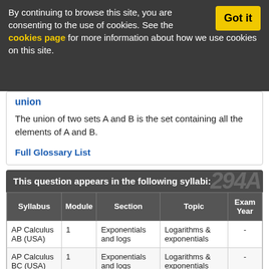By continuing to browse this site, you are consenting to the use of cookies. See the cookies page for more information about how we use cookies on this site.
union
The union of two sets A and B is the set containing all the elements of A and B.
Full Glossary List
This question appears in the following syllabi:
| Syllabus | Module | Section | Topic | Exam Year |
| --- | --- | --- | --- | --- |
| AP Calculus AB (USA) | 1 | Exponentials and logs | Logarithms & exponentials | - |
| AP Calculus BC (USA) | 1 | Exponentials and logs | Logarithms & exponentials | - |
| AQA A-Level (UK | C2 | Exponentials and logs | Logarithms & | - |